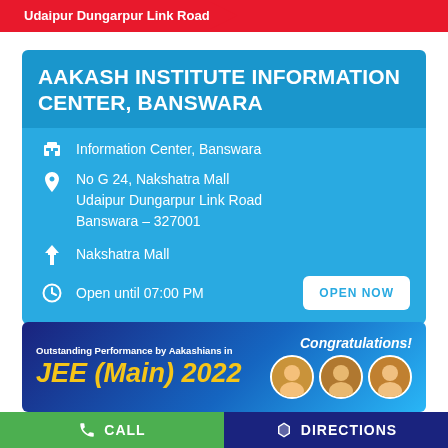[Figure (screenshot): Red banner at top showing 'Udaipur Dungarpur Link Road' in a chevron/arrow tag shape]
AAKASH INSTITUTE INFORMATION CENTER, BANSWARA
Information Center, Banswara
No G 24, Nakshatra Mall
Udaipur Dungarpur Link Road
Banswara – 327001
Nakshatra Mall
Open until 07:00 PM
OPEN NOW
[Figure (infographic): Blue gradient banner showing 'Outstanding Performance by Aakashians in JEE (Main) 2022' with 'Congratulations!' text and student faces on right]
CALL
DIRECTIONS